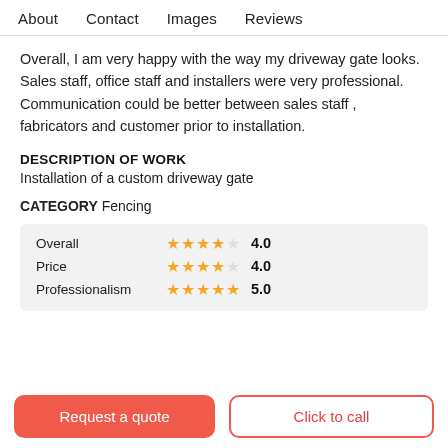About   Contact   Images   Reviews
Overall, I am very happy with the way my driveway gate looks. Sales staff, office staff and installers were very professional. Communication could be better between sales staff , fabricators and customer prior to installation.
DESCRIPTION OF WORK
Installation of a custom driveway gate
CATEGORY Fencing
| Category | Stars | Score |
| --- | --- | --- |
| Overall | ★★★★☆ | 4.0 |
| Price | ★★★★☆ | 4.0 |
| Professionalism | ★★★★★ | 5.0 |
Request a quote
Click to call